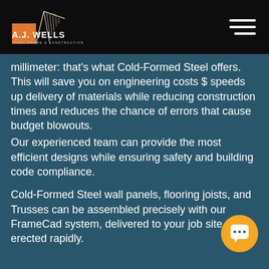[Figure (logo): A.J. Wells Steel Frame & Construction logo with orange building/crane graphic and white text on dark background]
millimeter: that's what Cold-Formed Steel offers. This will save you on engineering costs $ speeds up delivery of materials while reducing construction times and reduces the chance of errors that cause budget blowouts.
Our experienced team can provide the most efficient designs while ensuring safety and building code compliance.
Cold-Formed Steel wall panels, flooring joists, and Trusses can be assembled precisely with our FrameCad system, delivered to your job site, and erected rapidly.